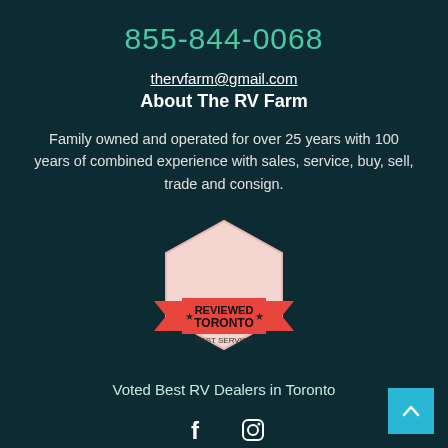855-844-0068
thervfarm@gmail.com
About The RV Farm
Family owned and operated for over 25 years with 100 years of combined experience with sales, service, buy, sell, trade and consign.
[Figure (logo): Reviewed Toronto Best Service badge - hexagonal shape with red ribbon banner]
Voted Best RV Dealers in Toronto
[Figure (illustration): Facebook and Instagram social media icons]
[Figure (other): Back to top button - cyan/teal square with upward arrow]